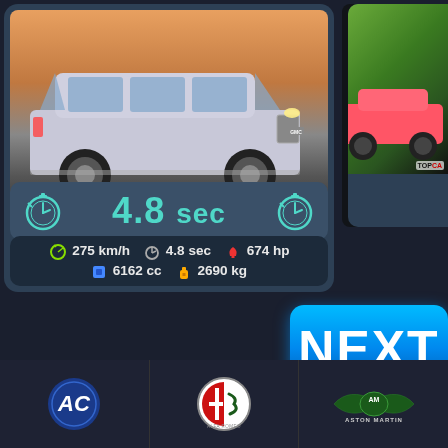[Figure (screenshot): Car comparison app screenshot showing GMC Yukon/Suburban SUV photo with specs: 275 km/h, 4.8 sec, 674 hp, 6162 cc, 2690 kg. Drivetrain diagram with V8 SC engine. NEXT button. Brand logos: AC, Alfa Romeo, Aston Martin.]
4.8 sec
275 km/h  4.8 sec  674 hp  6162 cc  2690 kg
NEXT
ASTON MARTIN